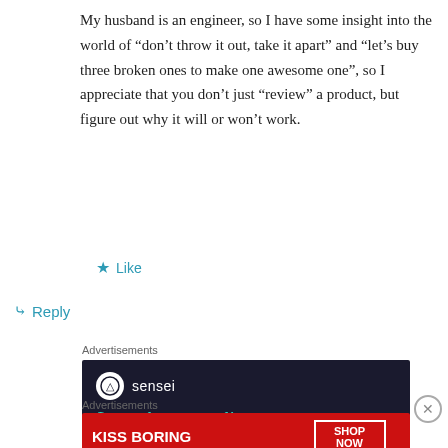My husband is an engineer, so I have some insight into the world of “don’t throw it out, take it apart” and “let’s buy three broken ones to make one awesome one”, so I appreciate that you don’t just “review” a product, but figure out why it will or won’t work.
★ Like
↳ Reply
Advertisements
[Figure (other): Sensei advertisement banner with dark background showing 'Launch your online' text in teal italic font and Sensei logo]
Advertisements
[Figure (other): Macy's advertisement banner with red background showing 'KISS BORING LIPS GOODBYE' text and 'SHOP NOW' button with Macy's logo]